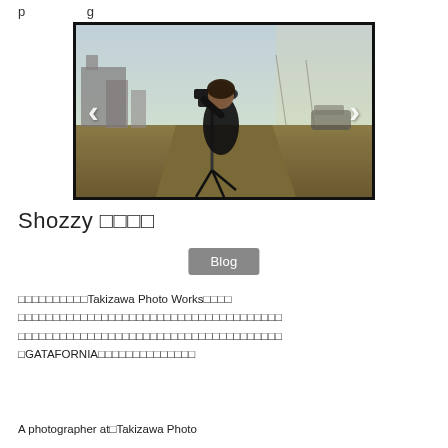p…g
[Figure (photo): A photographer standing with a camera on a tripod outdoors, with an industrial/urban background. Navigation arrows on left and right sides of the image.]
Shozzy □□□□
Blog
□□□□□□□□□□Takizawa Photo Works□□□□□□□□□□□□□□□□□□□□□□□□□□□□□□□□□□□□□□□□□□□□□□□□□□□□□□□□□□□□□□□□□□□□□GATAFORNIA□□□□□□□□□□□□□□
A photographer at□Takizawa Photo